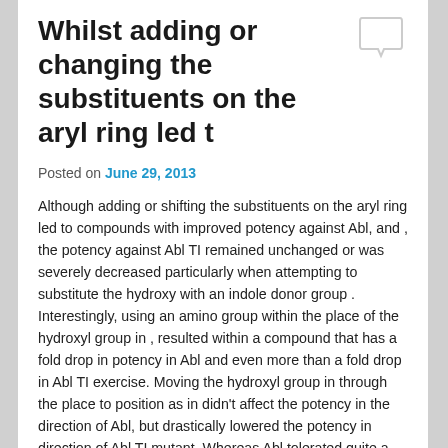Whilst adding or changing the substituents on the aryl ring led t
Posted on June 29, 2013
Although adding or shifting the substituents on the aryl ring led to compounds with improved potency against Abl, and , the potency against Abl TI remained unchanged or was severely decreased particularly when attempting to substitute the hydroxy with an indole donor group . Interestingly, using an amino group within the place of the hydroxyl group in , resulted within a compound that has a fold drop in potency in Abl and even more than a fold drop in Abl TI exercise. Moving the hydroxyl group in through the place to position as in didn't affect the potency in the direction of Abl, but drastically lowered the potency in direction of Abl TI mutant. Whereas Abl tolerated quite a few of these compounds in the binding web site, the Abl TI mutant was alot more delicate to alterations in structures